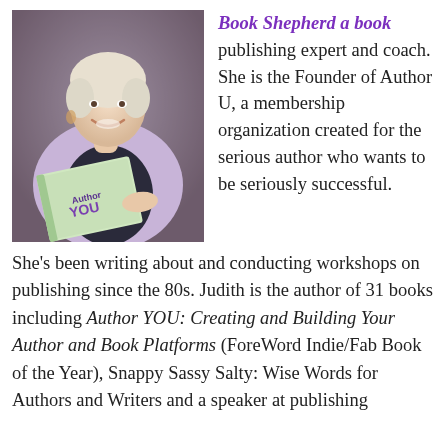[Figure (photo): Woman with short white/blonde hair smiling, wearing a lavender blazer over a dark top, holding open a book titled 'Author YOU' with colorful cover, standing in what appears to be a bookstore or library]
Book Shepherd a book publishing expert and coach. She is the Founder of Author U, a membership organization created for the serious author who wants to be seriously successful. She's been writing about and conducting workshops on publishing since the 80s. Judith is the author of 31 books including Author YOU: Creating and Building Your Author and Book Platforms (ForeWord Indie/Fab Book of the Year), Snappy Sassy Salty: Wise Words for Authors and Writers and a speaker at publishing